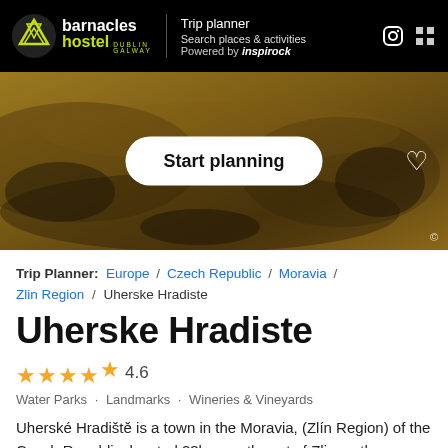[Figure (screenshot): Barnacles Hostel logo and Trip Planner header bar with navigation text]
[Figure (photo): Hero background image of sandy/rocky terrain with a 'Start planning' button overlay and heart icon]
Trip Planner: Europe / Czech Republic / Moravia / Zlin Region / Uherske Hradiste
Uherske Hradiste
★★★★⯨ 4.6
Water Parks · Landmarks · Wineries & Vineyards
Uherské Hradiště is a town in the Moravia, (Zlín Region) of the Czech Republic, located 23km southwest of Zlin on the Morava River. It is the capital of the Uherské